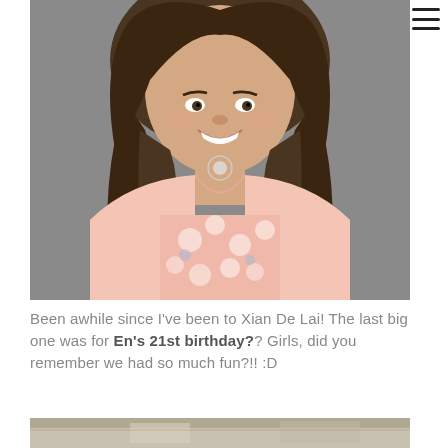[Figure (photo): Portrait photo of a smiling young woman with long dark hair, wearing a pink floral blouse and a necklace, against a grey background.]
Been awhile since I've been to Xian De Lai! The last big one was for En's 21st birthday?? Girls, did you remember we had so much fun?!! :D
[Figure (photo): Partial photo of what appears to be a restaurant interior, cropped at bottom.]